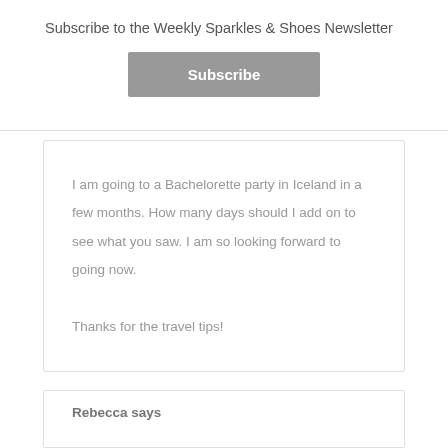Subscribe to the Weekly Sparkles & Shoes Newsletter
Subscribe
I am going to a Bachelorette party in Iceland in a few months. How many days should I add on to see what you saw. I am so looking forward to going now.
Thanks for the travel tips!
Rebecca says